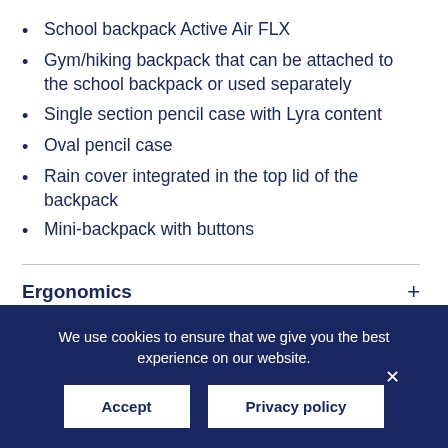School backpack Active Air FLX
Gym/hiking backpack that can be attached to the school backpack or used separately
Single section pencil case with Lyra content
Oval pencil case
Rain cover integrated in the top lid of the backpack
Mini-backpack with buttons
Ergonomics
Functions
Technical
We use cookies to ensure that we give you the best experience on our website.